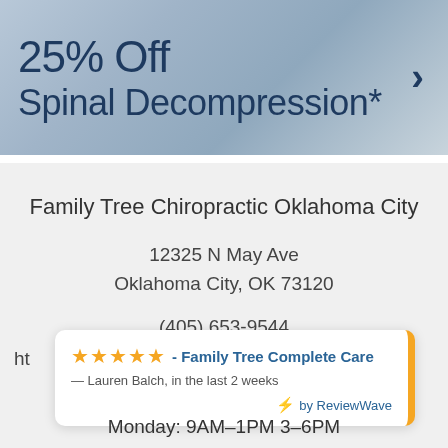[Figure (photo): Promotional banner with partial text '25% Off Spinal Decompression*' and a right arrow on a blue-gray textured background]
Family Tree Chiropractic Oklahoma City
12325 N May Ave
Oklahoma City, OK 73120
(405) 653-9544
ht
★★★★★ - Family Tree Complete Care — Lauren Balch, in the last 2 weeks ⚡ by ReviewWave
Monday: 9AM–1PM 3–6PM